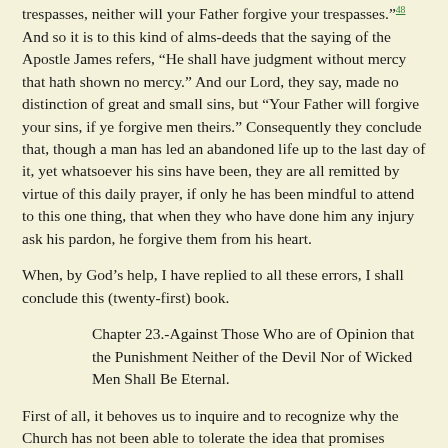trespasses, neither will your Father forgive your trespasses."⁴⁸ And so it is to this kind of alms-deeds that the saying of the Apostle James refers, "He shall have judgment without mercy that hath shown no mercy." And our Lord, they say, made no distinction of great and small sins, but "Your Father will forgive your sins, if ye forgive men theirs." Consequently they conclude that, though a man has led an abandoned life up to the last day of it, yet whatsoever his sins have been, they are all remitted by virtue of this daily prayer, if only he has been mindful to attend to this one thing, that when they who have done him any injury ask his pardon, he forgive them from his heart.
When, by God's help, I have replied to all these errors, I shall conclude this (twenty-first) book.
Chapter 23.-Against Those Who are of Opinion that the Punishment Neither of the Devil Nor of Wicked Men Shall Be Eternal.
First of all, it behoves us to inquire and to recognize why the Church has not been able to tolerate the idea that promises cleansing or indulgence to the devil even after the most severe and protracted punishment. For so many holy men, imbued with the spirit of the Old and New Testament, did not grudge to angels of any rank or character that they should enjoy the blessedness of the